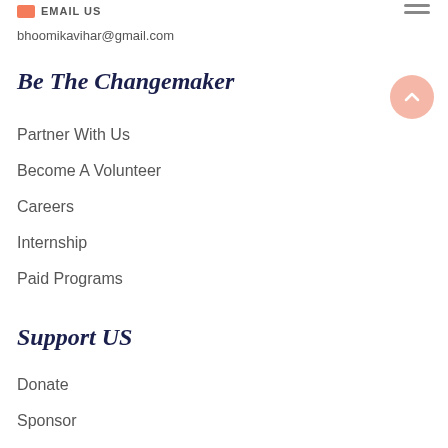EMAIL US
bhoomikavihar@gmail.com
Be The Changemaker
Partner With Us
Become A Volunteer
Careers
Internship
Paid Programs
Support US
Donate
Sponsor